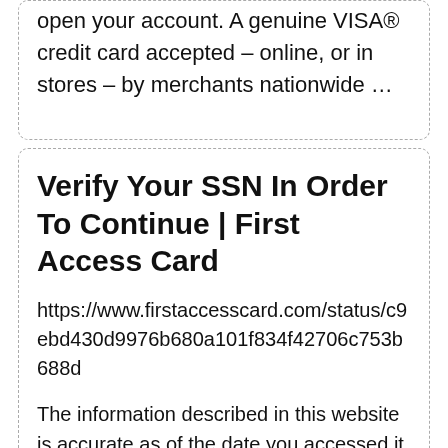open your account. A genuine VISA® credit card accepted – online, or in stores – by merchants nationwide …
Verify Your SSN In Order To Continue | First Access Card
https://www.firstaccesscard.com/status/c9ebd430d9976b680a101f834f42706c753b688d
The information described in this website is accurate as of the date you accessed it. If you have questions, please write us at. First Access Card